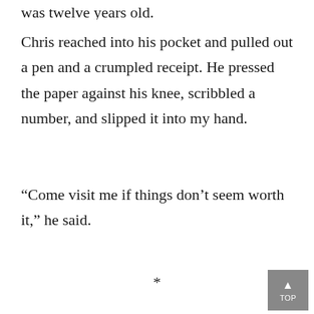was twelve years old.
Chris reached into his pocket and pulled out a pen and a crumpled receipt. He pressed the paper against his knee, scribbled a number, and slipped it into my hand.
“Come visit me if things don’t seem worth it,” he said.
*